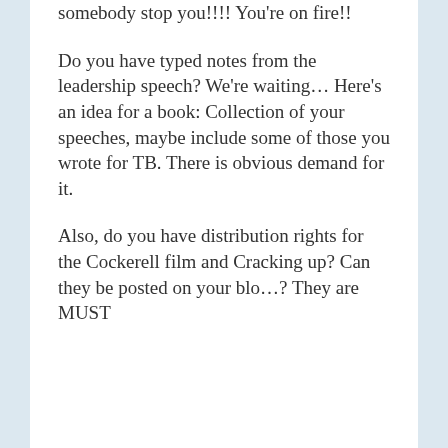somebody stop you!!!! You're on fire!!
Do you have typed notes from the leadership speech? We're waiting… Here's an idea for a book: Collection of your speeches, maybe include some of those you wrote for TB. There is obvious demand for it.
Also, do you have distribution rights for the Cockerell film and Cracking up? Can they be posted on your blo..? They are MUST